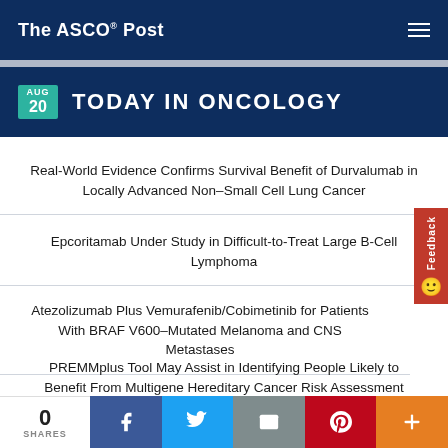The ASCO Post
TODAY IN ONCOLOGY — AUG 20
Real-World Evidence Confirms Survival Benefit of Durvalumab in Locally Advanced Non–Small Cell Lung Cancer
Epcoritamab Under Study in Difficult-to-Treat Large B-Cell Lymphoma
Atezolizumab Plus Vemurafenib/Cobimetinib for Patients With BRAF V600–Mutated Melanoma and CNS Metastases
PREMMplus Tool May Assist in Identifying People Likely to Benefit From Multigene Hereditary Cancer Risk Assessment
Study Tests Strategy for Reducing Colorectal Cancer Risk Among Patients With Familial Adenomatous Polyposis